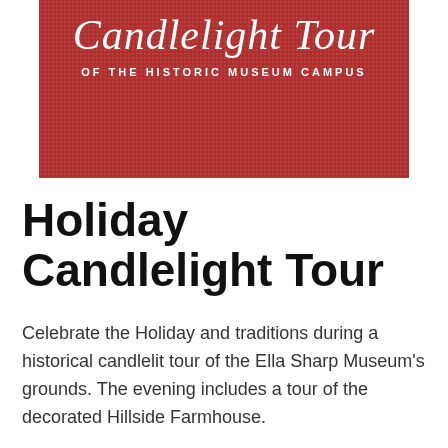[Figure (illustration): Red textured banner/poster image showing 'Candlelight Tour' in cursive white script and 'OF THE HISTORIC MUSEUM CAMPUS' in white uppercase letters below]
Holiday Candlelight Tour
Celebrate the Holiday and traditions during a historical candlelit tour of the Ella Sharp Museum's grounds. The evening includes a tour of the decorated Hillside Farmhouse.